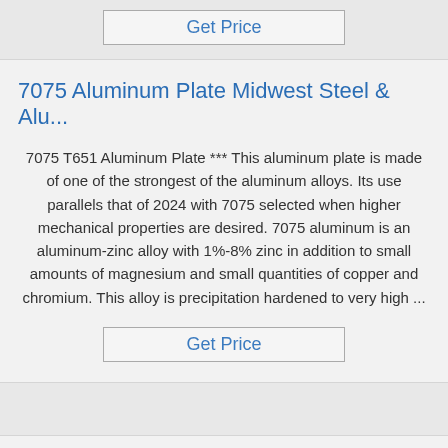Get Price
7075 Aluminum Plate Midwest Steel & Alu...
7075 T651 Aluminum Plate *** This aluminum plate is made of one of the strongest of the aluminum alloys. Its use parallels that of 2024 with 7075 selected when higher mechanical properties are desired. 7075 aluminum is an aluminum-zinc alloy with 1%-8% zinc in addition to small amounts of magnesium and small quantities of copper and chromium. This alloy is precipitation hardened to very high ...
Get Price
High performance rolled plate and sheet - ...